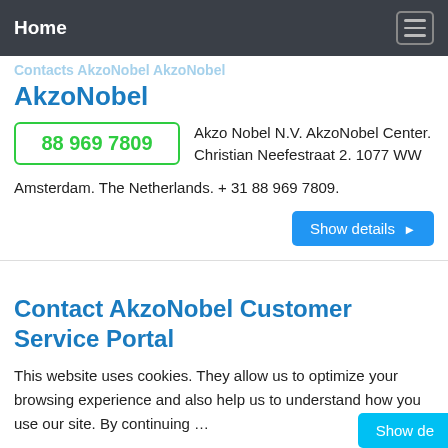Home
AkzoNobel
Akzo Nobel N.V. AkzoNobel Center. Christian Neefestraat 2. 1077 WW Amsterdam. The Netherlands. + 31 88 969 7809.
Show details
Contact AkzoNobel Customer Service Portal
This website uses cookies. They allow us to optimize your browsing experience and also help us to understand how you use our site. By continuing …
Show de